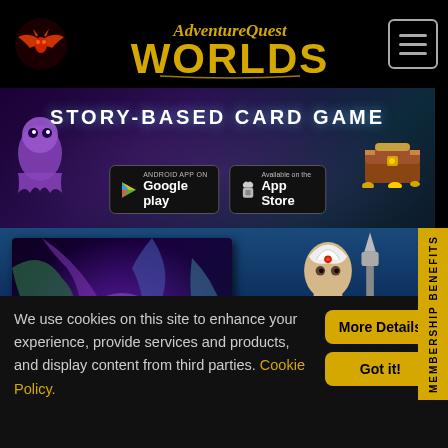[Figure (screenshot): AdventureQuest Worlds website screenshot showing navigation bar with bat logo and game title, a story-based card game banner with Google Play and App Store buttons, a HeroMart promotional section showing a 2019 Epic Villains of Lore calendar and game character, a Membership Benefits tab, and a cookie consent bar at the bottom.]
AdventureQuest Worlds
STORY-BASED CARD GAME
HEROMART
We use cookies on this site to enhance your experience, provide services and products, and display content from third parties. Cookie Policy.